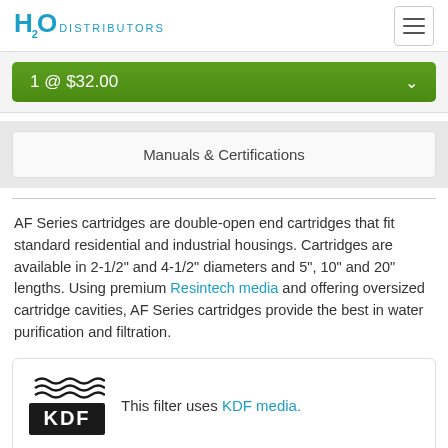H2O DISTRIBUTORS
1 @ $32.00
Manuals & Certifications
AF Series cartridges are double-open end cartridges that fit standard residential and industrial housings. Cartridges are available in 2-1/2" and 4-1/2" diameters and 5", 10" and 20" lengths. Using premium Resintech media and offering oversized cartridge cavities, AF Series cartridges provide the best in water purification and filtration.
[Figure (logo): KDF logo with wavy lines above KDF text]
This filter uses KDF media.